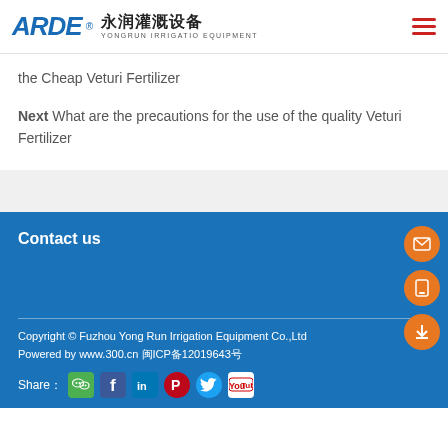ARDE® 永润灌溉设备 YONGRUN IRRIGATIO EQUIPMENT
the Cheap Veturi Fertilizer
Next What are the precautions for the use of the quality Veturi Fertilizer
Contact us
Copyright © Fuzhou Yong Run Irrigation Equipment Co.,Ltd Powered by www.300.cn 闽ICP备12019643号
Share：